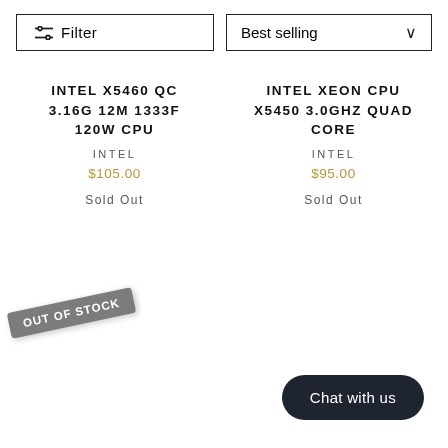Filter
Best selling
INTEL X5460 QC 3.16G 12M 1333F 120W CPU
INTEL
$105.00
Sold Out
INTEL XEON CPU X5450 3.0GHZ QUAD CORE
INTEL
$95.00
Sold Out
OUT OF STOCK
Chat with us